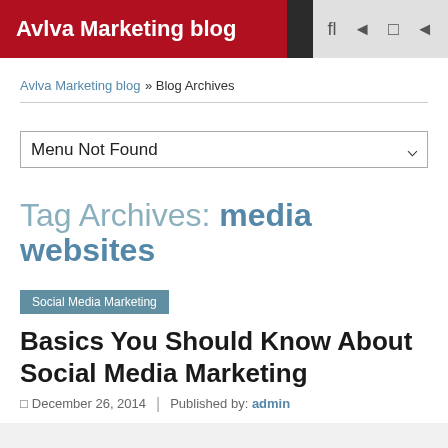Avlva Marketing blog
Avlva Marketing blog >> Blog Archives
Menu Not Found
Tag Archives: media websites
Social Media Marketing
Basics You Should Know About Social Media Marketing
December 26, 2014 | Published by: admin